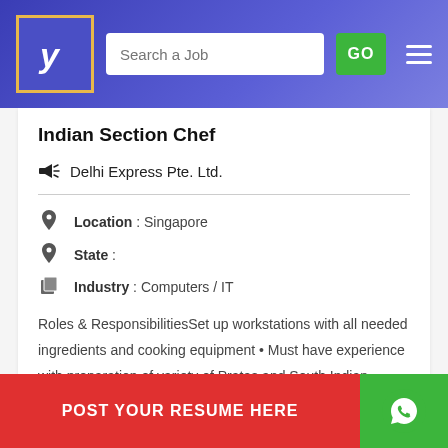[Figure (screenshot): Job listing website header with logo (stylized Y), search bar with placeholder 'Search a Job', green GO button, and hamburger menu icon on blue-purple gradient background.]
Indian Section Chef
Delhi Express Pte. Ltd.
Location : Singapore
State :
Industry : Computers / IT
Roles & ResponsibilitiesSet up workstations with all needed ingredients and cooking equipment • Must have experience with preparation of variety of Pratas and South Indian dishes and North Indian • Prepare ingredients to use in cooking (chopping a...ok...
POST YOUR RESUME HERE